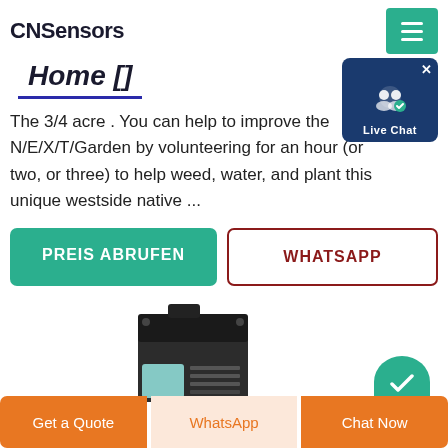CNSensors
Home []
The 3/4 acre . You can help to improve the N/E/X/T/Garden by volunteering for an hour (or two, or three) to help weed, water, and plant this unique westside native ...
[Figure (screenshot): Live Chat popup overlay with icon and label]
PREIS ABRUFEN
WHATSAPP
[Figure (photo): Product photo of a Siemens-style industrial module (black/teal sensor device), partially visible at bottom. Green semicircle element visible at right.]
Get a Quote | WhatsApp | Chat Now